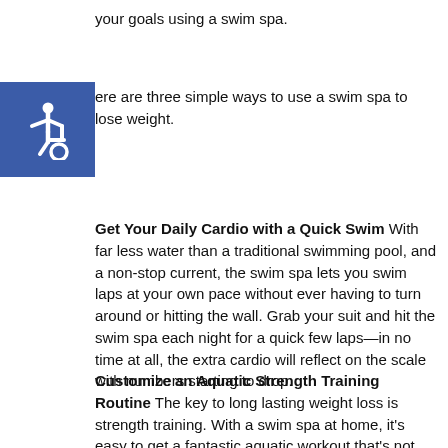your goals using a swim spa.
[Figure (logo): Wheelchair accessibility icon — white wheelchair symbol on blue square background]
Here are three simple ways to use a swim spa to lose weight.
Get Your Daily Cardio with a Quick Swim With far less water than a traditional swimming pool, and a non-stop current, the swim spa lets you swim laps at your own pace without ever having to turn around or hitting the wall. Grab your suit and hit the swim spa each night for a quick few laps—in no time at all, the extra cardio will reflect on the scale with numbers starting to drop.
Customize an Aquatic Strength Training Routine The key to long lasting weight loss is strength training. With a swim spa at home, it's easy to get a fantastic aquatic workout that's not only fun, but super effective. Water is naturally